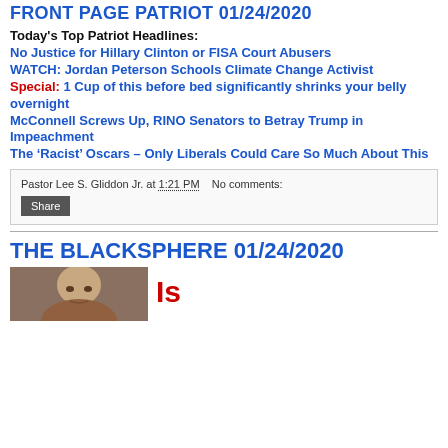FRONT PAGE PATRIOT 01/24/2020
Today's Top Patriot Headlines:
No Justice for Hillary Clinton or FISA Court Abusers
WATCH: Jordan Peterson Schools Climate Change Activist
Special: 1 Cup of this before bed significantly shrinks your belly overnight
McConnell Screws Up, RINO Senators to Betray Trump in Impeachment
The ‘Racist’ Oscars – Only Liberals Could Care So Much About This
Pastor Lee S. Gliddon Jr. at 1:21 PM   No comments:
THE BLACKSPHERE 01/24/2020
[Figure (photo): Partial photo of a person's face, cropped at bottom of page]